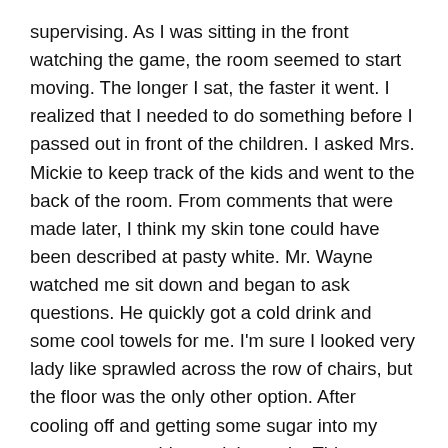supervising. As I was sitting in the front watching the game, the room seemed to start moving. The longer I sat, the faster it went. I realized that I needed to do something before I passed out in front of the children. I asked Mrs. Mickie to keep track of the kids and went to the back of the room. From comments that were made later, I think my skin tone could have been described at pasty white. Mr. Wayne watched me sit down and began to ask questions. He quickly got a cold drink and some cool towels for me. I'm sure I looked very lady like sprawled across the row of chairs, but the floor was the only other option. After cooling off and getting some sugar into my system, my world was right again. Things stopped spinning and I could carry on a conversation. As the room stopped spinning, it was very humbling to see the concerned faces surrounding me.
Through the weekend, others have made a point to check